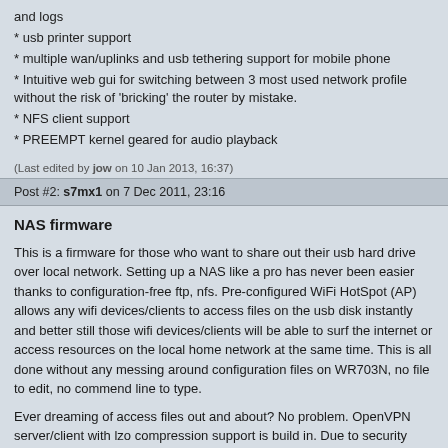and logs
* usb printer support
* multiple wan/uplinks and usb tethering support for mobile phone
* Intuitive web gui for switching between 3 most used network profile without the risk of 'bricking' the router by mistake.
* NFS client support
* PREEMPT kernel geared for audio playback
(Last edited by jow on 10 Jan 2013, 16:37)
Post #2: s7mx1 on 7 Dec 2011, 23:16
NAS firmware
This is a firmware for those who want to share out their usb hard drive over local network. Setting up a NAS like a pro has never been easier thanks to configuration-free ftp, nfs. Pre-configured WiFi HotSpot (AP) allows any wifi devices/clients to access files on the usb disk instantly and better still those wifi devices/clients will be able to surf the internet or access resources on the local home network at the same time. This is all done without any messing around configuration files on WR703N, no file to edit, no commend line to type.
Ever dreaming of access files out and about? No problem. OpenVPN server/client with lzo compression support is build in. Due to security reasons I dare not to pre-configure openvpn for you. Please head to